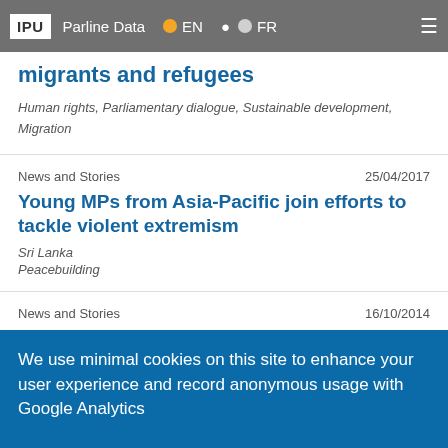IPU | Parline Data | EN | FR
migrants and refugees
Human rights, Parliamentary dialogue, Sustainable development, Migration
News and Stories  25/04/2017
Young MPs from Asia-Pacific join efforts to tackle violent extremism
Sri Lanka
Peacebuilding
News and Stories  16/10/2014
IPU urges Members to stem indefensible
We use minimal cookies on this site to enhance your user experience and record anonymous usage with Google Analytics